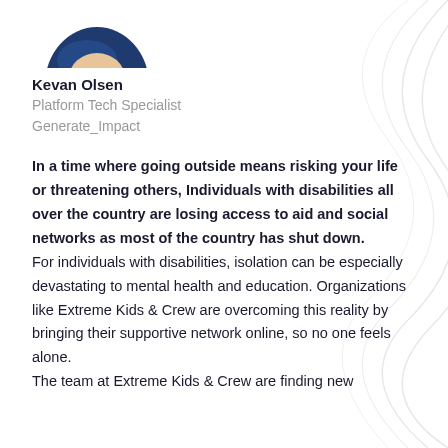[Figure (illustration): Profile photo of Kevan Olsen, shown as a blue illustrated avatar/portrait cropped at top of page]
Kevan Olsen
Platform Tech Specialist
Generate_Impact
In a time where going outside means risking your life or threatening others, Individuals with disabilities all over the country are losing access to aid and social networks as most of the country has shut down.
For individuals with disabilities, isolation can be especially devastating to mental health and education. Organizations like Extreme Kids & Crew are overcoming this reality by bringing their supportive network online, so no one feels alone.
The team at Extreme Kids & Crew are finding new